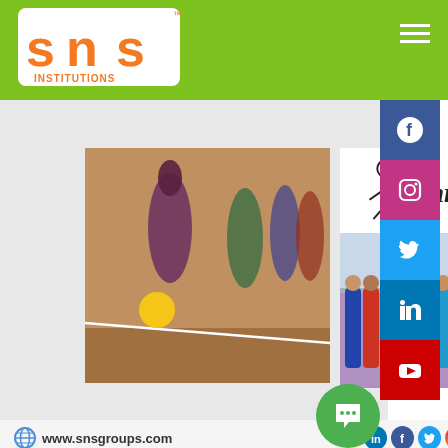SNS INSTITUTIONS
[Figure (photo): Sports photo collage showing throwball game with women in sarees and a Throw Ball logo]
www.snsgroups.com / snsinsti
#SNSInstitutions #SNSDesignThinkers #Designthinki
#sportsday #sports #sport #marchpast #sportsman #fitness #motivation #gametime #bestcollege #Artscollege #BestArtsCollege #trending #coimbatore #tamilnadu